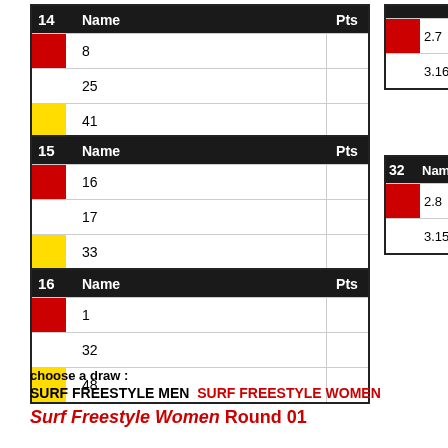| 14 | Name | Pts |
| --- | --- | --- |
| (red) | 8 |  |
| (white) | 25 |  |
| (yellow) | 41 |  |
| 15 | Name | Pts |
| --- | --- | --- |
| (red) | 16 |  |
| (white) | 17 |  |
| (yellow) | 33 |  |
| 16 | Name | Pts |
| --- | --- | --- |
| (red) | 1 |  |
| (white) | 32 |  |
| (yellow) | 48 |  |
|  |  |
| --- | --- |
| (red) | 2.7 |
| (white) | 3.16 |
| 32 | Name |
| --- | --- |
| (red) | 2.8 |
| (white) | 3.15 |
choose a draw :
SURF FREESTYLE MEN   SURF FREESTYLE WOMEN
Surf Freestyle Women Round 01